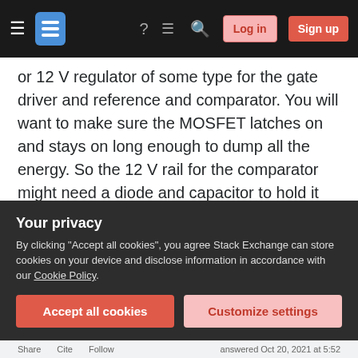Stack Exchange navigation bar with Log in and Sign up buttons
or 12 V regulator of some type for the gate driver and reference and comparator. You will want to make sure the MOSFET latches on and stays on long enough to dump all the energy. So the 12 V rail for the comparator might need a diode and capacitor to hold it up at least until after the field collapses.
With this power level, you will need to do some failure mode analysis (regardless of what solution you choose). What if the load dump mechanism fails in the "on" position? Do you want to detect that fault
Your privacy
By clicking "Accept all cookies", you agree Stack Exchange can store cookies on your device and disclose information in accordance with our Cookie Policy.
Accept all cookies   Customize settings
Share   Cite   Follow          answered Oct 20, 2021 at 5:52